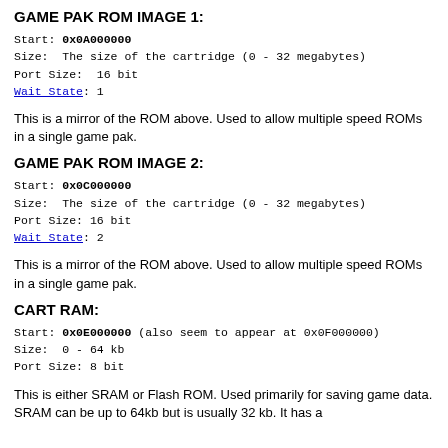GAME PAK ROM IMAGE 1:
Start: 0x0A000000
Size:  The size of the cartridge (0 - 32 megabytes)
Port Size:  16 bit
Wait State: 1
This is a mirror of the ROM above. Used to allow multiple speed ROMs in a single game pak.
GAME PAK ROM IMAGE 2:
Start: 0x0C000000
Size:  The size of the cartridge (0 - 32 megabytes)
Port Size: 16 bit
Wait State: 2
This is a mirror of the ROM above. Used to allow multiple speed ROMs in a single game pak.
CART RAM:
Start: 0x0E000000 (also seem to appear at 0x0F000000)
Size:  0 - 64 kb
Port Size: 8 bit
This is either SRAM or Flash ROM. Used primarily for saving game data. SRAM can be up to 64kb but is usually 32 kb. It has a